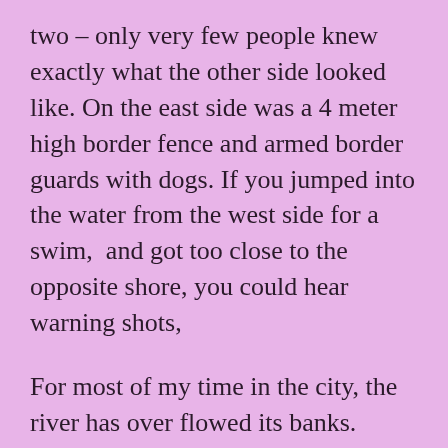two – only very few people knew exactly what the other side looked like. On the east side was a 4 meter high border fence and armed border guards with dogs. If you jumped into the water from the west side for a swim,  and got too close to the opposite shore, you could hear warning shots,
For most of my time in the city, the river has over flowed its banks.
I think a lot about how often it changes width and appearance.
While waiting for the ice to melt on the